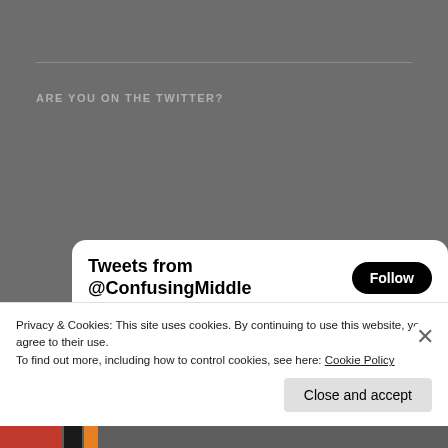ARE YOU ON THE TWITTER?
[Figure (screenshot): Twitter widget showing 'Tweets from @ConfusingMiddle' with a Follow button, and a tweet from 'The Confusing...' (@Confusin...) posted 3h ago: 'It’s finally time for the 8th installment of @CappyTalk’s Captain’s Quiz! Follow the link for his questions and my answers. Pretty sure I crushed it this time...']
Privacy & Cookies: This site uses cookies. By continuing to use this website, you agree to their use.
To find out more, including how to control cookies, see here: Cookie Policy
Close and accept